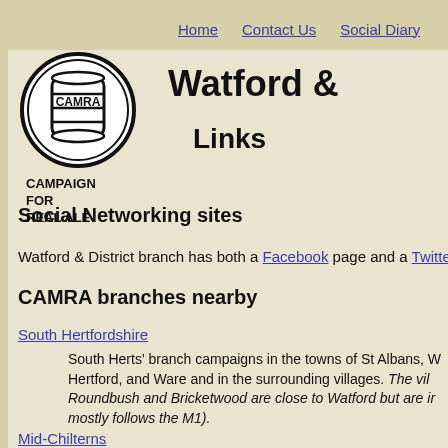Home    Contact Us    Social Diary
[Figure (logo): CAMRA circular logo with barrel image and text CAMPAIGN FOR REAL ALE]
Watford &
Links
Social Networking sites
Watford & District branch has both a Facebook page and a Twitte
CAMRA branches nearby
South Hertfordshire
South Herts' branch campaigns in the towns of St Albans, W Hertford, and Ware and in the surrounding villages. The vil Roundbush and Bricketwood are close to Watford but are ir mostly follows the M1).
Mid-Chilterns